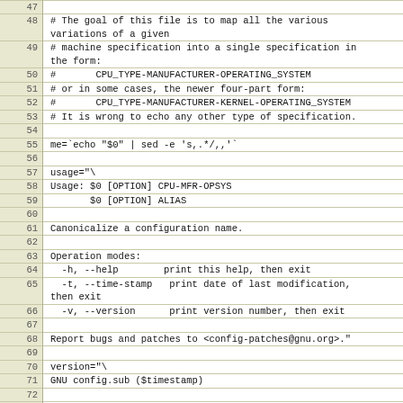[Figure (screenshot): Source code listing with line numbers 46-75, showing a shell script fragment with comments about CPU type mapping and usage information for config.sub]